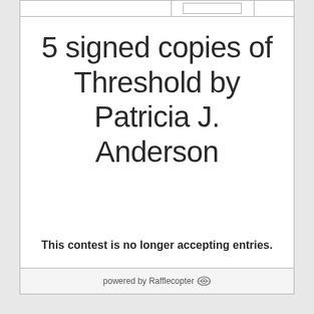5 signed copies of Threshold by Patricia J. Anderson
This contest is no longer accepting entries.
powered by Rafflecopter